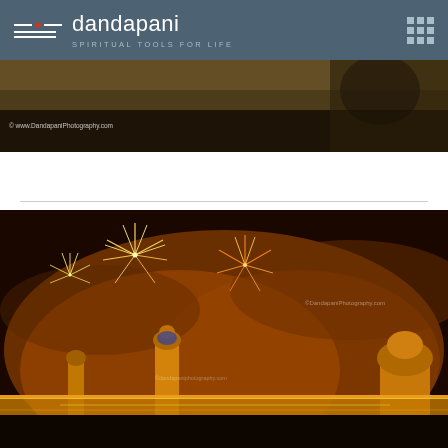dandapani — SPIRITUAL TOOLS FOR LIFE
[Figure (photo): Partial view of a dark outdoor photo with a watermark reading © www.DandapaniPhotography.com, showing people in the background]
[Figure (photo): Night photo of a brightly illuminated temple complex (likely Golden Temple, Amritsar) with fireworks bursting in the sky above. The temple and surrounding complex are decorated with golden lights. Watermark reads ©DandapaniPhotography.com]